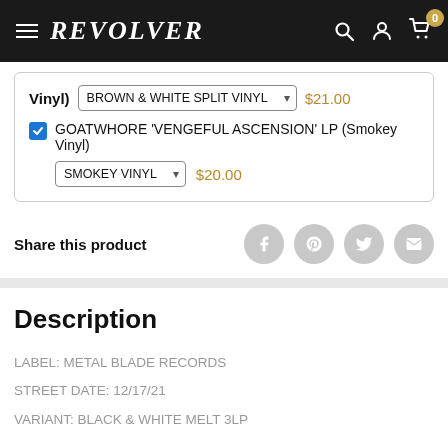REVOLVER
Vinyl) BROWN & WHITE SPLIT VINYL ▾  $21.00
☑ GOATWHORE 'VENGEFUL ASCENSION' LP (Smokey Vinyl)
SMOKEY VINYL ▾  $20.00
Share this product
Description
LABEL: METAL BLADE RECORDS
STREET DATE: 12/17/21
VARIANT: BLACK & WHITE MELT 3LP